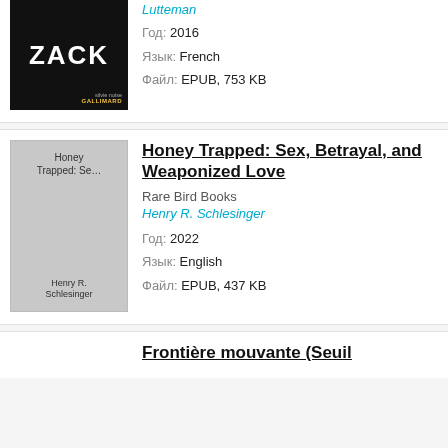[Figure (illustration): Book cover for ZACK, black background with white bold text 'ZACK', small author and publisher text at bottom right (silvie noise, GALLIMARD)]
Lutteman
Год: 2016
Язык: French
Файл: EPUB, 753 KB
[Figure (illustration): Book cover for Honey Trapped: Se... by Henry R. Schlesinger, gray cover with title and author text]
Honey Trapped: Sex, Betrayal, and Weaponized Love
Rare Bird Books
Henry R. Schlesinger
Год: 2022
Язык: English
Файл: EPUB, 437 KB
Frontière mouvante (Seuil